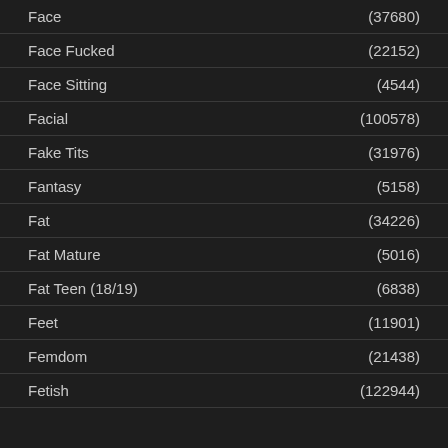Face (37680)
Face Fucked (22152)
Face Sitting (4544)
Facial (100578)
Fake Tits (31976)
Fantasy (5158)
Fat (34226)
Fat Mature (5016)
Fat Teen (18/19) (6838)
Feet (11901)
Femdom (21438)
Fetish (122944)